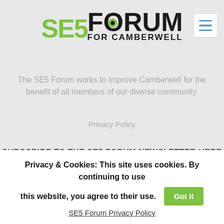[Figure (logo): SE5 Forum for Camberwell logo — 'SE5' in green bold, 'FORUM' in black bold with a green circle in the O, 'FOR CAMBERWELL' in black bold smaller text below]
The SE5 Forum works to improve Camberwell for the benefit of all members of our diverse community.
Privacy Policy
SUBSCRIBE TO THE SE5 FORUM NEWSLETTER HERE
Subscribe
Privacy & Cookies: This site uses cookies. By continuing to use this website, you agree to their use.
SE5 Forum Privacy Policy